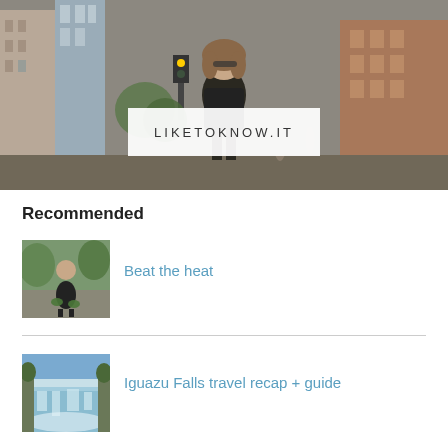[Figure (photo): Hero photo of a woman walking on a city street with tall buildings, with a white LIKETOKNOW.IT badge overlaid in the center]
×
Recommended
[Figure (photo): Thumbnail of a child dancing or playing outdoors on a stone surface with greenery in background]
Beat the heat
[Figure (photo): Thumbnail of Iguazu Falls waterfall with blue sky and rushing water]
Iguazu Falls travel recap + guide